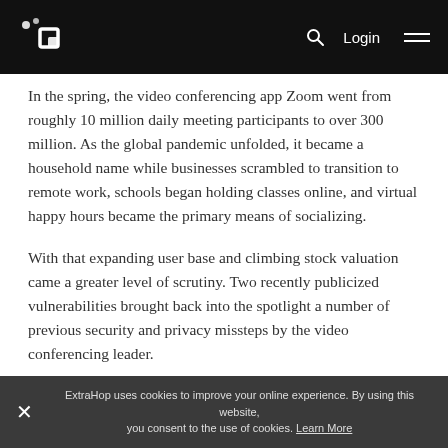ExtraHop logo navigation bar with Login and menu
In the spring, the video conferencing app Zoom went from roughly 10 million daily meeting participants to over 300 million. As the global pandemic unfolded, it became a household name while businesses scrambled to transition to remote work, schools began holding classes online, and virtual happy hours became the primary means of socializing.
With that expanding user base and climbing stock valuation came a greater level of scrutiny. Two recently publicized vulnerabilities brought back into the spotlight a number of previous security and privacy missteps by the video conferencing leader.
ExtraHop uses cookies to improve your online experience. By using this website, you consent to the use of cookies. Learn More